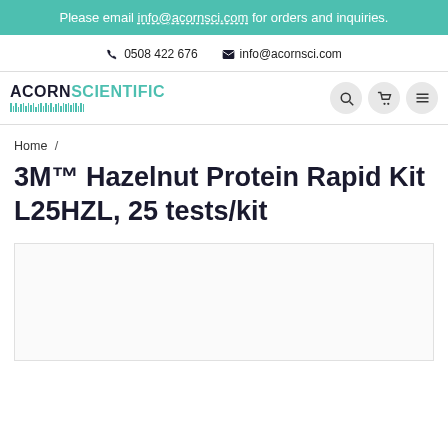Please email info@acornsci.com for orders and inquiries.
0508 422 676   info@acornsci.com
[Figure (logo): Acorn Scientific logo with teal barcode graphic]
Home /
3M™ Hazelnut Protein Rapid Kit L25HZL, 25 tests/kit
[Figure (photo): Product image area (blank/loading)]